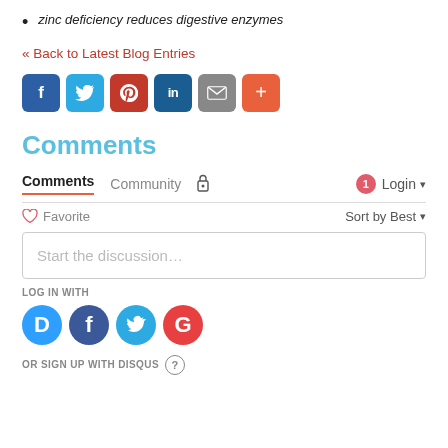zinc deficiency reduces digestive enzymes
« Back to Latest Blog Entries
[Figure (infographic): Social share buttons: Facebook, Twitter, Pinterest, LinkedIn, Email, More (+)]
Comments
[Figure (screenshot): Disqus comments widget showing tabs: Comments, Community, lock icon, notification badge (1), Login dropdown; Favorite button, Sort by Best dropdown; Start the discussion... input box; LOG IN WITH section with Disqus, Facebook, Twitter, Google icons; OR SIGN UP WITH DISQUS with help icon]